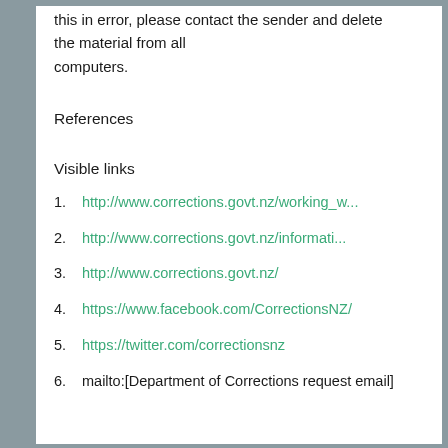this in error, please contact the sender and delete the material from all computers.
References
Visible links
1. http://www.corrections.govt.nz/working_w...
2. http://www.corrections.govt.nz/informati...
3. http://www.corrections.govt.nz/
4. https://www.facebook.com/CorrectionsNZ/
5. https://twitter.com/correctionsnz
6. mailto:[Department of Corrections request email]